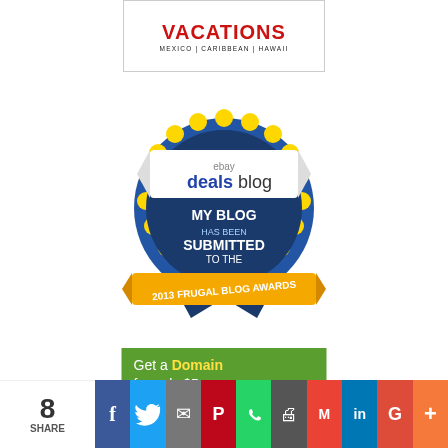[Figure (logo): Vacations banner: MEXICO | CARIBBEAN | HAWAII in red and dark text on white background with border]
[Figure (illustration): eBay Deals Blog - My Blog Has Been Submitted to the 2013 Frugal Blog Awards badge/ribbon illustration in blue and gold colors]
[Figure (illustration): Get a Domain for only $5 a [year] - green banner ad with domain plug icon]
[Figure (infographic): Social share bar showing 8 shares with Facebook, Twitter, Email, Pinterest, WhatsApp, Print, Gmail, LinkedIn, Google+, and More buttons]